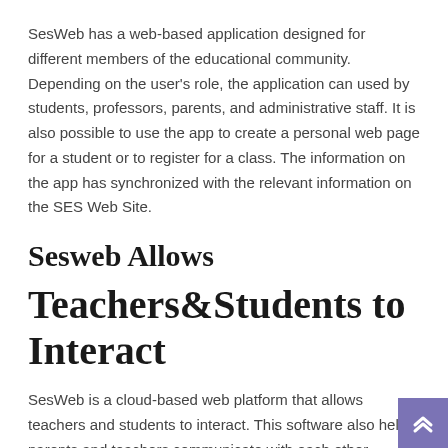SesWeb has a web-based application designed for different members of the educational community. Depending on the user's role, the application can used by students, professors, parents, and administrative staff. It is also possible to use the app to create a personal web page for a student or to register for a class. The information on the app has synchronized with the relevant information on the SES Web Site.
Sesweb Allows
Teachers&Students to Interact
SesWeb is a cloud-based web platform that allows teachers and students to interact. This software also helps parents and teachers communicate with each other